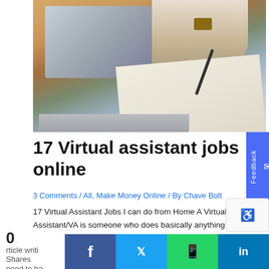[Figure (photo): Person typing on a laptop keyboard at a wooden desk, with papers and a pen visible beside the laptop. The person is wearing a watch and light-colored clothing.]
17 Virtual assistant jobs online
3 Comments / All, Make Money Online / By Chave Bolt
17 Virtual Assistant Jobs I can do from Home A Virtual Assistant/VA is someone who does basically anything the client wants done. Virtual assistant services jobs includes tasks such as customer service, transcription, scheduling, telemarketi... Article writi... need to ha...
0 Shares